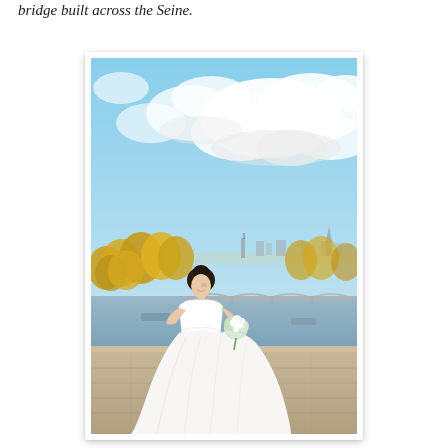bridge built across the Seine.
[Figure (photo): A bride in a white off-shoulder ball gown holding a bouquet, standing on a stone bridge or embankment along the Seine river in Paris. Autumn trees with yellow/orange foliage line the riverbank. A bridge spans the Seine in the background, and Paris city buildings including a church spire are visible on the horizon. The sky is bright blue with large white clouds.]